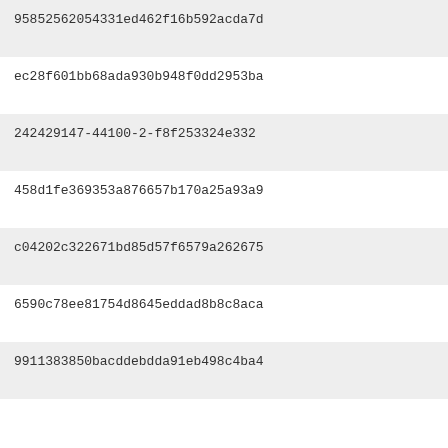95852562054331ed462f16b592acda7d
ec28f601bb68ada930b948f0dd2953ba
242429147-44100-2-f8f253324e332
458d1fe369353a876657b170a25a93a9
c04202c322671bd85d57f6579a262675
6590c78ee81754d8645eddad8b8c8aca
9911383850bacddebdda91eb498c4ba4